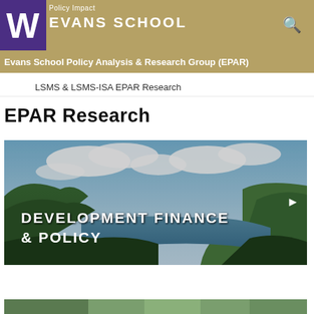Policy Impact — Evans School
Evans School Policy Analysis & Research Group (EPAR)
LSMS & LSMS-ISA EPAR Research
EPAR Research
[Figure (photo): Landscape photo showing green hills, a blue lake/river, and cloudy sky with overlay text reading DEVELOPMENT FINANCE & POLICY and a right-arrow navigation control]
[Figure (photo): Partial bottom image, cropped, showing another photo related to EPAR research]